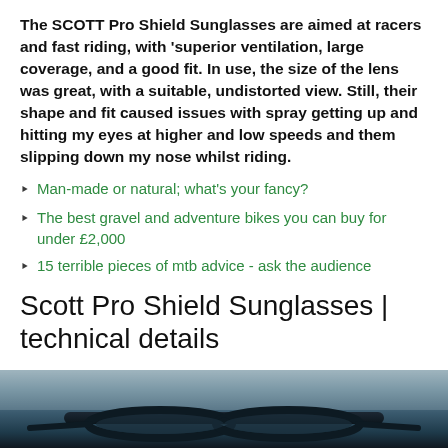The SCOTT Pro Shield Sunglasses are aimed at racers and fast riding, with 'superior ventilation, large coverage, and a good fit. In use, the size of the lens was great, with a suitable, undistorted view. Still, their shape and fit caused issues with spray getting up and hitting my eyes at higher and low speeds and them slipping down my nose whilst riding.
Man-made or natural; what's your fancy?
The best gravel and adventure bikes you can buy for under £2,000
15 terrible pieces of mtb advice - ask the audience
Scott Pro Shield Sunglasses | technical details
[Figure (photo): Close-up photo of the Scott Pro Shield Sunglasses from above, showing the dark frame against a blurred background]